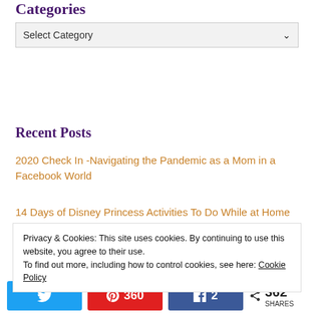Categories
Select Category
Recent Posts
2020 Check In -Navigating the Pandemic as a Mom in a Facebook World
14 Days of Disney Princess Activities To Do While at Home
Privacy & Cookies: This site uses cookies. By continuing to use this website, you agree to their use.
To find out more, including how to control cookies, see here: Cookie Policy
362 SHARES (Twitter share, Pinterest 360, Facebook 2)